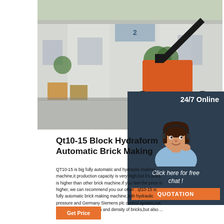[Figure (photo): Industrial facility exterior with a large orange construction machine (boom lift / access equipment) parked in front of a warehouse building. Green trees and other machinery visible in background.]
[Figure (photo): Customer service agent - young woman with headset, smiling, wearing light blue shirt. Dark background with '24/7 Online' text above.]
Qt10-15 Block Hydraform Automatic Brick Making
QT10-15 is big fully automatic and hydraulic making machine,it production capacity is very high,but it's price is higher than other brick machine.If you feel the price is higher, we can recommend you our other . qt10-15 is fully automatic brick making machine,with hydraulic pressure and Germany Siemens plc control system,not only make high strength and density of bricks,but also ...
Click here for free chat !
QUOTATION
24/7 Online
Get Price